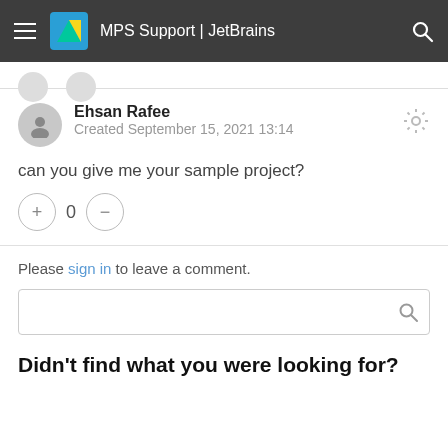MPS Support | JetBrains
Ehsan Rafee
Created September 15, 2021 13:14
can you give me your sample project?
Please sign in to leave a comment.
Didn't find what you were looking for?